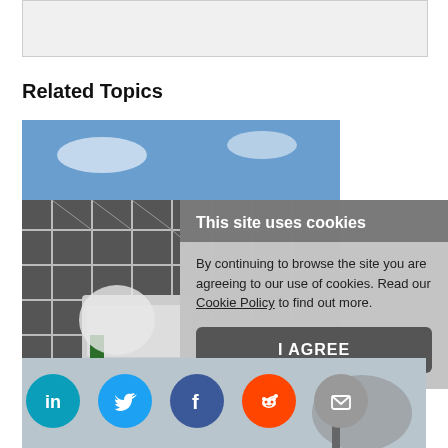[Figure (other): Grey placeholder box at top of page]
Related Topics
[Figure (photo): Construction scaffolding photo]
Mental health in con businesses should k
This site uses cookies

By continuing to browse the site you are agreeing to our use of cookies. Read our Cookie Policy to find out more.

I AGREE
[Figure (other): Social media sharing bar with LinkedIn, Twitter, Facebook, Reddit, Email icons and a partial photo]